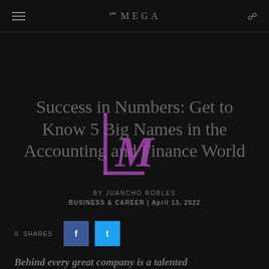OMEGA
Success in Numbers: Get to Know 5 Big Names in the Accounting and Finance World
BY JUANCHO ROBLES
BUSINESS & CAREER | April 13, 2022
0  SHARES
Behind every great company is a talented